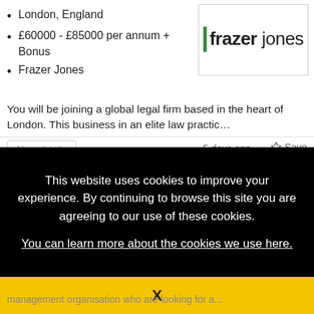London, England
£60000 - £85000 per annum + Bonus
Frazer Jones
[Figure (logo): Frazer Jones logo: green vertical bar followed by bold 'frazer' and regular 'jones' in dark text]
You will be joining a global legal firm based in the heart of London. This business in an elite law practic…
View details
5 days ago
Save
This website uses cookies to improve your experience. By continuing to browse this site you are agreeing to our use of these cookies.
You can learn more about the cookies we use here.
X
management organisation who are looking for a...